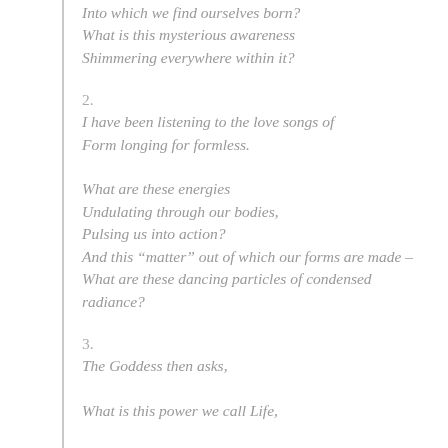Into which we find ourselves born?
What is this mysterious awareness
Shimmering everywhere within it?
2.
I have been listening to the love songs of
Form longing for formless.
What are these energies
Undulating through our bodies,
Pulsing us into action?
And this “matter” out of which our forms are made –
What are these dancing particles of condensed
radiance?
3.
The Goddess then asks,
What is this power we call Life,